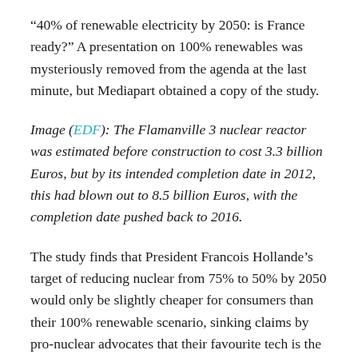“40% of renewable electricity by 2050: is France ready?” A presentation on 100% renewables was mysteriously removed from the agenda at the last minute, but Mediapart obtained a copy of the study.
Image (EDF): The Flamanville 3 nuclear reactor was estimated before construction to cost 3.3 billion Euros, but by its intended completion date in 2012, this had blown out to 8.5 billion Euros, with the completion date pushed back to 2016.
The study finds that President Francois Hollande’s target of reducing nuclear from 75% to 50% by 2050 would only be slightly cheaper for consumers than their 100% renewable scenario, sinking claims by pro-nuclear advocates that their favourite tech is the cheapest.
Some people just don’t want to hear the good